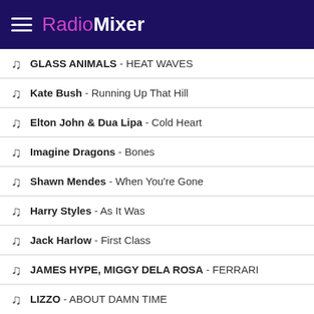RadioMixer
GLASS ANIMALS - HEAT WAVES
Kate Bush - Running Up That Hill
Elton John & Dua Lipa - Cold Heart
Imagine Dragons - Bones
Shawn Mendes - When You're Gone
Harry Styles - As It Was
Jack Harlow - First Class
JAMES HYPE, MIGGY DELA ROSA - FERRARI
LIZZO - ABOUT DAMN TIME